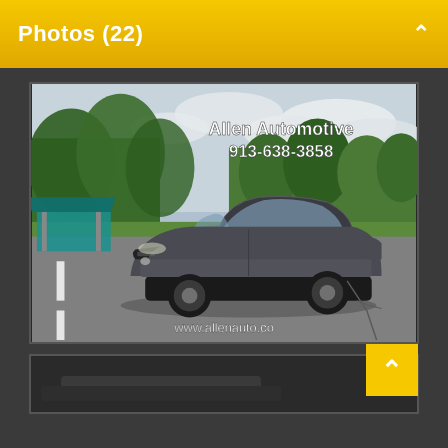Photos (22)
[Figure (photo): A dark gray Acura TL sedan parked in a park parking lot on a cloudy day. Text overlay reads 'Allen Automotive 913-638-3858' and 'www.allenauto.co']
[Figure (photo): Second vehicle photo thumbnail, partially visible at bottom of page]